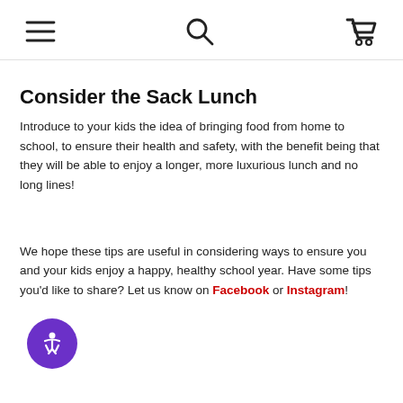Navigation header with menu, search, and cart icons
Consider the Sack Lunch
Introduce to your kids the idea of bringing food from home to school, to ensure their health and safety, with the benefit being that they will be able to enjoy a longer, more luxurious lunch and no long lines!
We hope these tips are useful in considering ways to ensure you and your kids enjoy a happy, healthy school year. Have some tips you'd like to share? Let us know on Facebook or Instagram!